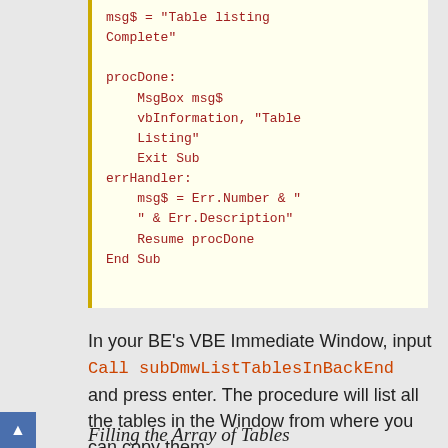msg$ = "Table listing Complete"

procDone:
    MsgBox msg$
    vbInformation, "Table Listing"
    Exit Sub
errHandler:
    msg$ = Err.Number & ""
    & Err.Description"
    Resume procDone
End Sub
In your BE's VBE Immediate Window, input
Call subDmwListTablesInBackEnd
and press enter. The procedure will list all the tables in the Window from where you can copy them.
Filling the Array of Tables